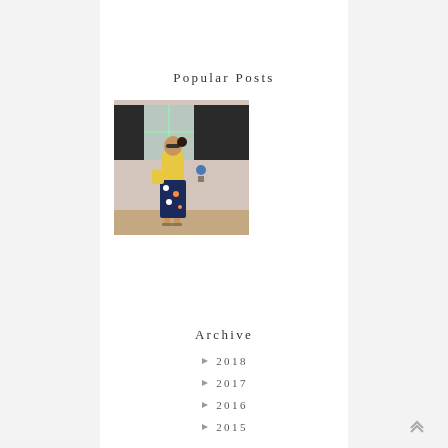Popular Posts
[Figure (photo): A person wearing a yellow top and dark floral midi skirt standing in front of a pink building with dark shutters and a white door.]
Archive
2018
2017
2016
2015